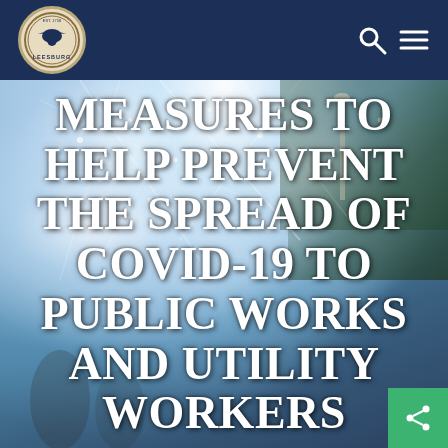Leesburg town government header with logo and navigation icons
[Figure (photo): Children playing in a water splash pad fountain with heavy water spray, outdoor park setting with trees and fence visible in background]
MEASURES TO HELP PREVENT THE SPREAD OF COVID-19 TO PUBLIC WORKS AND UTILITY WORKERS